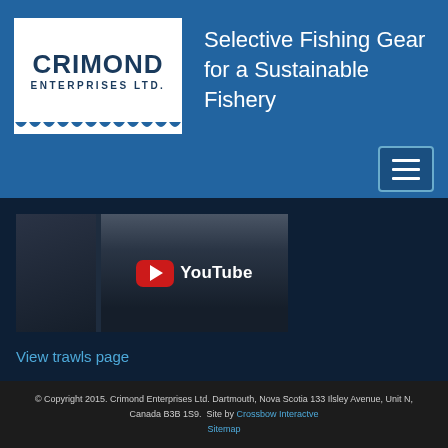CRIMOND ENTERPRISES LTD. — Selective Fishing Gear for a Sustainable Fishery
[Figure (screenshot): YouTube embedded video thumbnail showing fishing gear/trawl at sea, dark blue-grey tones with YouTube logo overlay]
View trawls page
© Copyright 2015. Crimond Enterprises Ltd. Dartmouth, Nova Scotia 133 Ilsley Avenue, Unit N, Canada B3B 1S9.  Site by Crossbow Interactve
Sitemap